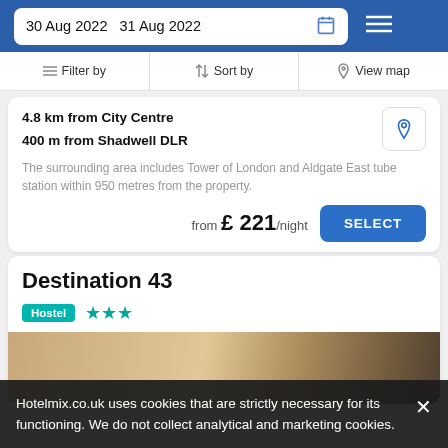30 Aug 2022  31 Aug 2022
Filter by  Sort by  View map
4.8 km from City Centre
400 m from Shadwell DLR
The surrounding area includes Tower of London and Aldgate East tube station within 950 metres from the property.
from £ 221/night
SELECT
Destination 43
Hostel ★★★
Hotelmix.co.uk uses cookies that are strictly necessary for its functioning. We do not collect analytical and marketing cookies.